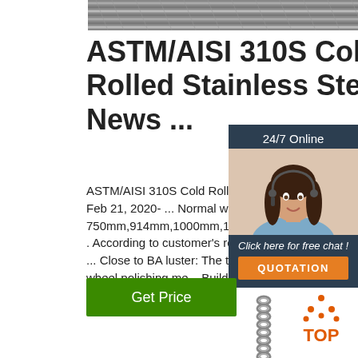[Figure (photo): Close-up photo of stainless steel bars or rods, metallic grey, shown at top of page]
ASTM/AISI 310S Cold Rolled Stainless Steel Coil News ...
ASTM/AISI 310S Cold Rolled Stainless S... - Feb 21, 2020- ... Normal width. 750mm,914mm,1000mm,1219mm,1250 Length . According to customer's require cut into sheet. ... Close to BA luster: The timber 400 polishing wheel polishing me... Building materials, kitchen utensils ...
[Figure (photo): Customer service agent photo with 24/7 Online label and chat/quotation overlay panel]
[Figure (other): Get Price green button]
[Figure (other): TOP logo with orange dots forming triangle above orange TOP text]
[Figure (photo): Chain link image at bottom of page]